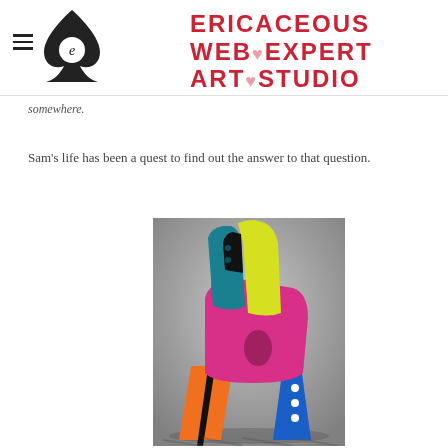ERICACEOUS WEB EXPERT ART STUDIO
somewhere.
Sam's life has been a quest to find out the answer to that question.
[Figure (photo): Colorful abstract sculptural chair with yellow, teal/blue, pink/magenta, orange, and blue segments on a grey background]